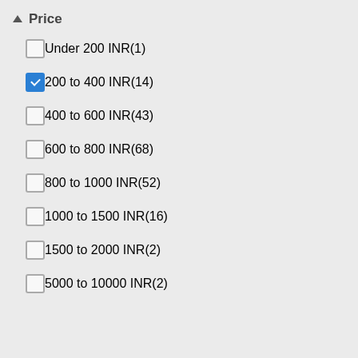▲ Price
Under 200 INR(1)
200 to 400 INR(14)
400 to 600 INR(43)
600 to 800 INR(68)
800 to 1000 INR(52)
1000 to 1500 INR(16)
1500 to 2000 INR(2)
5000 to 10000 INR(2)